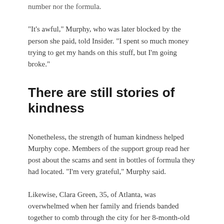number nor the formula.
“It’s awful,” Murphy, who was later blocked by the person she paid, told Insider. “I spent so much money trying to get my hands on this stuff, but I’m going broke.”
There are still stories of kindness
Nonetheless, the strength of human kindness helped Murphy cope. Members of the support group read her post about the scams and sent in bottles of formula they had located. “I’m very grateful,” Murphy said.
Likewise, Clara Green, 35, of Atlanta, was overwhelmed when her family and friends banded together to comb through the city for her 8-month-old daughter, Baeza.
The mother described the shortage as sad and depressing, but said ‘parents caring for each other’ during the emergency was